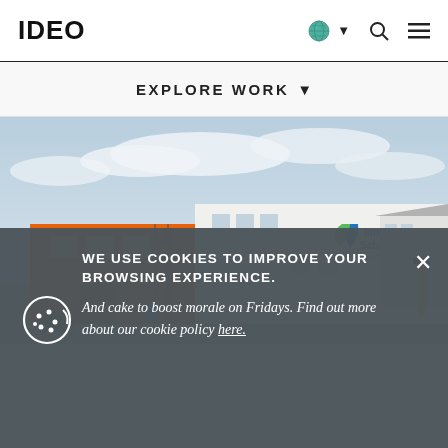IDEO
EXPLORE WORK ▾
[Figure (photo): Exterior photo of Innova Schools building with orange accent wall and white facade, showing the Innova Schools logo. Overcast sky in the background.]
WE USE COOKIES TO IMPROVE YOUR BROWSING EXPERIENCE. And cake to boost morale on Fridays. Find out more about our cookie policy here.